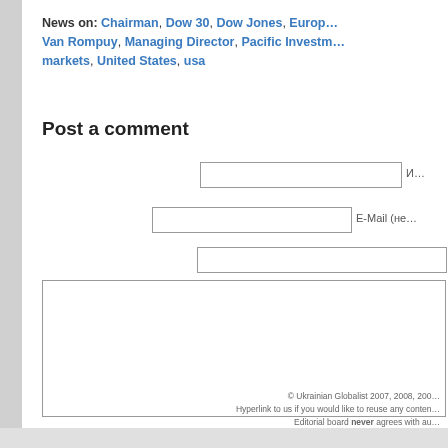News on: Chairman, Dow 30, Dow Jones, Europ… Van Rompuy, Managing Director, Pacific Investm… markets, United States, usa
Post a comment
© Ukrainian Globalist 2007, 2008, 200… Hyperlink to us if you would like to reuse any conten… Editorial board never agrees with au…